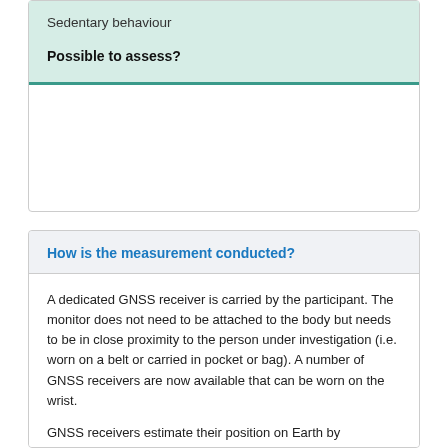Sedentary behaviour
Possible to assess?
How is the measurement conducted?
A dedicated GNSS receiver is carried by the participant. The monitor does not need to be attached to the body but needs to be in close proximity to the person under investigation (i.e. worn on a belt or carried in pocket or bag). A number of GNSS receivers are now available that can be worn on the wrist.
GNSS receivers estimate their position on Earth by triangulating signals sent from satellites orbiting Earth. The signals are exact time stamps from the satellites which are used to...